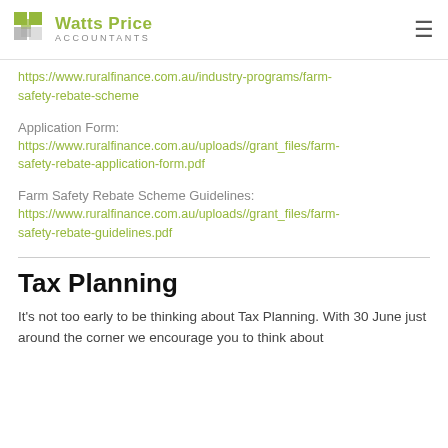Watts Price Accountants
https://www.ruralfinance.com.au/industry-programs/farm-safety-rebate-scheme
Application Form:
https://www.ruralfinance.com.au/uploads//grant_files/farm-safety-rebate-application-form.pdf
Farm Safety Rebate Scheme Guidelines:
https://www.ruralfinance.com.au/uploads//grant_files/farm-safety-rebate-guidelines.pdf
Tax Planning
It's not too early to be thinking about Tax Planning. With 30 June just around the corner we encourage you to think about